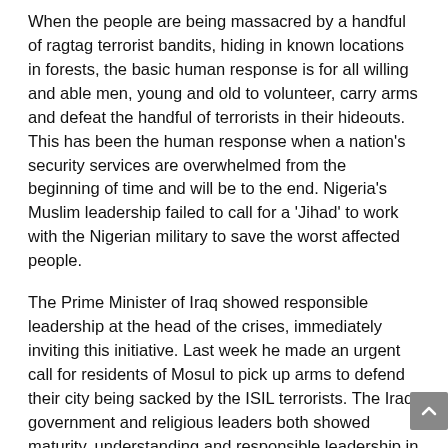When the people are being massacred by a handful of ragtag terrorist bandits, hiding in known locations in forests, the basic human response is for all willing and able men, young and old to volunteer, carry arms and defeat the handful of terrorists in their hideouts. This has been the human response when a nation's security services are overwhelmed from the beginning of time and will be to the end. Nigeria's Muslim leadership failed to call for a 'Jihad' to work with the Nigerian military to save the worst affected people.
The Prime Minister of Iraq showed responsible leadership at the head of the crises, immediately inviting this initiative. Last week he made an urgent call for residents of Mosul to pick up arms to defend their city being sacked by the ISIL terrorists. The Iraq government and religious leaders both showed maturity, understanding and responsible leadership in immediately initiating and supporting this urgent response to terror that overwhelms state security services.
Nigerians including a broad range of civilians across the country, from north to south, civil activists, and local vigilante's and the popular Civilian-JTF have begged their leaders and the Federal government for this advantage over terror, but their pleas have fallen on deaf ears.